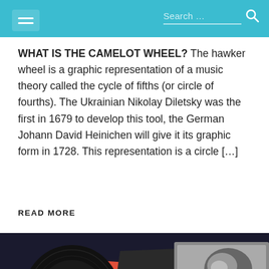Search ...
WHAT IS THE CAMELOT WHEEL? The hawker wheel is a graphic representation of a music theory called the cycle of fifths (or circle of fourths). The Ukrainian Nikolay Diletsky was the first in 1679 to develop this tool, the German Johann David Heinichen will give it its graphic form in 1728. This representation is a circle [...]
READ MORE
[Figure (photo): Overhead view of multiple vinyl records and colorful record sleeves scattered on a surface, including black vinyl discs, red, green, and white sleeves, with a back-to-top scroll button overlay in the lower right.]